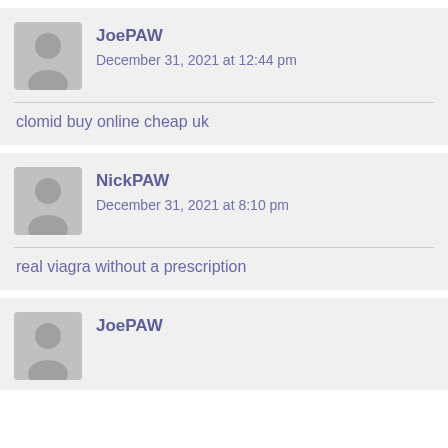JoePAW
December 31, 2021 at 12:44 pm
clomid buy online cheap uk
NickPAW
December 31, 2021 at 8:10 pm
real viagra without a prescription
JoePAW